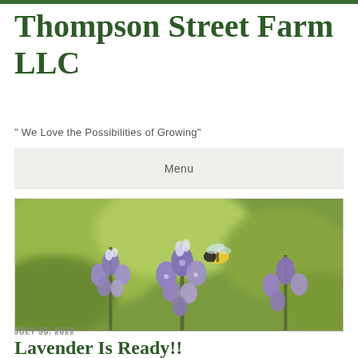Thompson Street Farm LLC
" We Love the Possibilities of Growing"
Menu
[Figure (photo): Close-up photograph of purple lavender flowers with a bumblebee on them, with a blurred green background]
JULY 30, 2022
Lavender Is Ready!!